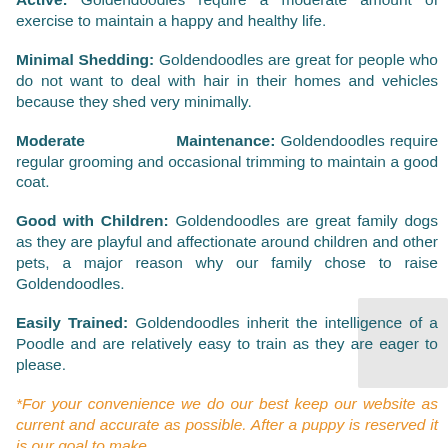Active: Goldendoodles require a moderate amount of exercise to maintain a happy and healthy life.
Minimal Shedding: Goldendoodles are great for people who do not want to deal with hair in their homes and vehicles because they shed very minimally.
Moderate Maintenance: Goldendoodles require regular grooming and occasional trimming to maintain a good coat.
Good with Children: Goldendoodles are great family dogs as they are playful and affectionate around children and other pets, a major reason why our family chose to raise Goldendoodles.
Easily Trained: Goldendoodles inherit the intelligence of a Poodle and are relatively easy to train as they are eager to please.
*For your convenience we do our best keep our website as current and accurate as possible. After a puppy is reserved it is our goal to make